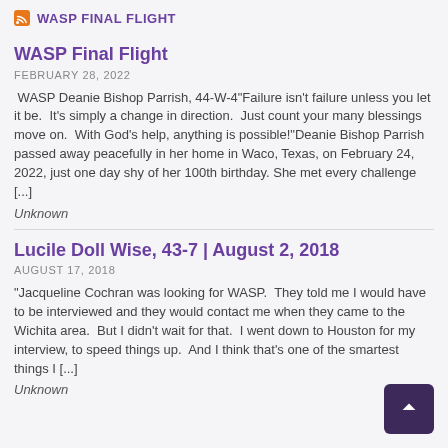WASP FINAL FLIGHT
WASP Final Flight
FEBRUARY 28, 2022
WASP Deanie Bishop Parrish, 44-W-4"Failure isn't failure unless you let it be.  It's simply a change in direction.  Just count your many blessings move on.  With God's help, anything is possible!"Deanie Bishop Parrish passed away peacefully in her home in Waco, Texas, on February 24, 2022, just one day shy of her 100th birthday. She met every challenge [...]
Unknown
Lucile Doll Wise, 43-7 | August 2, 2018
AUGUST 17, 2018
"Jacqueline Cochran was looking for WASP.  They told me I would have to be interviewed and they would contact me when they came to the Wichita area.  But I didn't wait for that.  I went down to Houston for my interview, to speed things up.  And I think that's one of the smartest things I [...]
Unknown